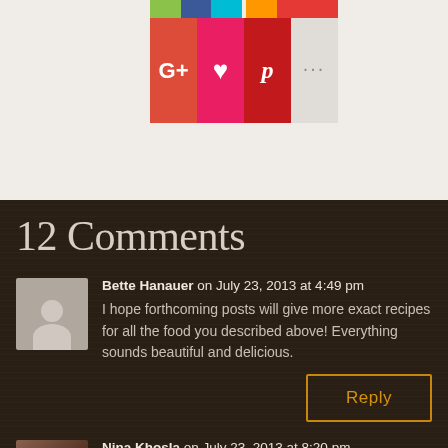[Figure (screenshot): Screenshot of social sharing buttons including Google+, heart/like, Pinterest, and more options (…), with colored bars at top]
12 Comments
Bette Hanauer on July 23, 2013 at 4:49 pm
I hope forthcoming posts will give more exact recipes for all the food you described above! Everything sounds beautiful and delicious.
Reply
Nina Khosla on July 23, 2013 at 8:20 pm